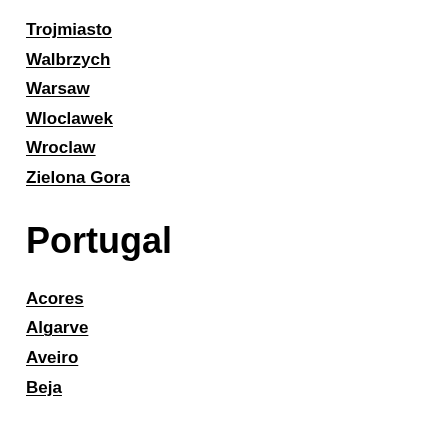Trojmiasto
Walbrzych
Warsaw
Wloclawek
Wroclaw
Zielona Gora
Portugal
Acores
Algarve
Aveiro
Beja